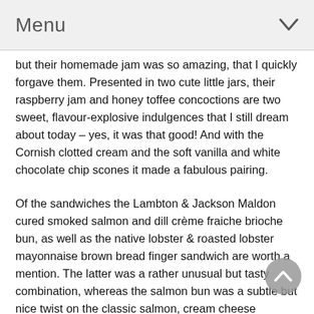Menu
but their homemade jam was so amazing, that I quickly forgave them. Presented in two cute little jars, their raspberry jam and honey toffee concoctions are two sweet, flavour-explosive indulgences that I still dream about today – yes, it was that good! And with the Cornish clotted cream and the soft vanilla and white chocolate chip scones it made a fabulous pairing.
Of the sandwiches the Lambton & Jackson Maldon cured smoked salmon and dill crème fraiche brioche bun, as well as the native lobster & roasted lobster mayonnaise brown bread finger sandwich are worth a mention. The latter was a rather unusual but tasty combination, whereas the salmon bun was a subtle but nice twist on the classic salmon, cream cheese sandwich. They were also the two sandwiches that I ended up ordering a second helping of – most afternoon teas will offer this if you ask for it.